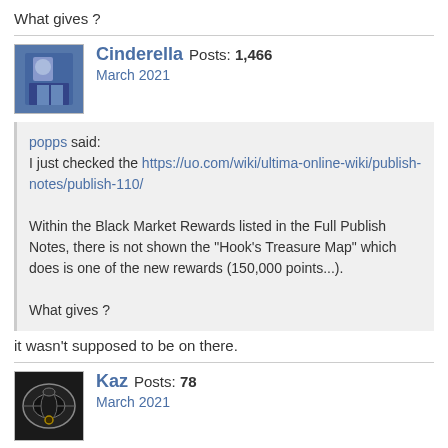What gives ?
Cinderella  Posts: 1,466
March 2021
popps said:
I just checked the https://uo.com/wiki/ultima-online-wiki/publish-notes/publish-110/

Within the Black Market Rewards listed in the Full Publish Notes, there is not shown the "Hook's Treasure Map" which does is one of the new rewards (150,000 points...).

What gives ?
it wasn't supposed to be on there.
Kaz  Posts: 78
March 2021
@popps why not?  Because bane dragons are overcapped legacy